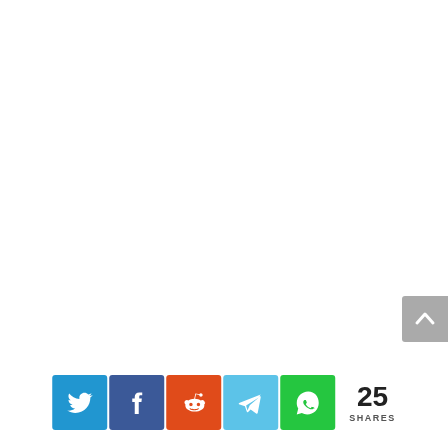[Figure (infographic): Social share bar with Twitter, Facebook, Reddit, Telegram, WhatsApp buttons and a share count of 25]
[Figure (infographic): Scroll-to-top button (grey arrow pointing up) in upper right area]